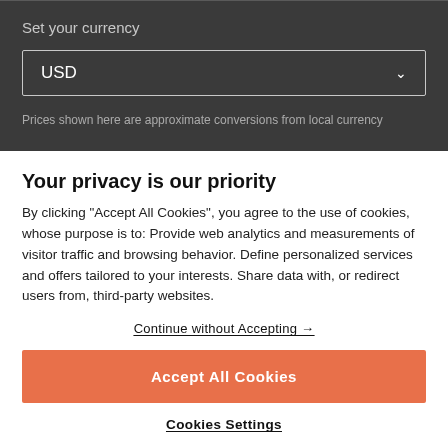Set your currency
USD
Prices shown here are approximate conversions from local currency
Your privacy is our priority
By clicking “Accept All Cookies”, you agree to the use of cookies, whose purpose is to: Provide web analytics and measurements of visitor traffic and browsing behavior. Define personalized services and offers tailored to your interests. Share data with, or redirect users from, third-party websites.
Continue without Accepting →
Accept All Cookies
Cookies Settings